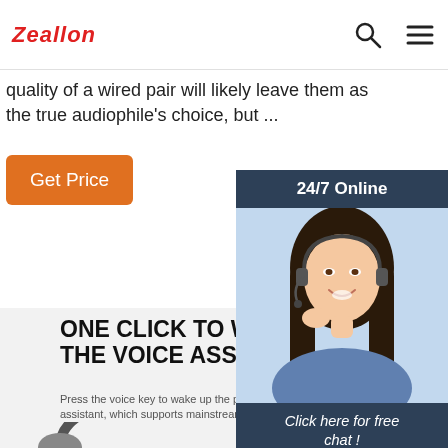Zeallon
quality of a wired pair will likely leave them as the true audiophile's choice, but ...
Get Price
[Figure (photo): 24/7 Online chat widget with photo of woman wearing headset, 'Click here for free chat!' text and QUOTATION button]
ONE CLICK TO WAKE UP THE VOICE ASSISTANT
Press the voice key to wake up the phone system Voice assistant, which supports mainstream devices on the market
[Figure (photo): Bottom portion of black headphones visible at bottom of page]